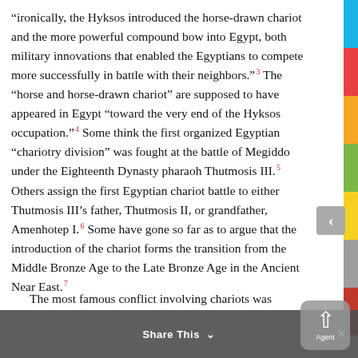“ironically, the Hyksos introduced the horse-drawn chariot and the more powerful compound bow into Egypt, both military innovations that enabled the Egyptians to compete more successfully in battle with their neighbors.”³ The “horse and horse-drawn chariot” are supposed to have appeared in Egypt “toward the very end of the Hyksos occupation.”⁴ Some think the first organized Egyptian “chariotry division” was fought at the battle of Megiddo under the Eighteenth Dynasty pharaoh Thutmosis III.⁵ Others assign the first Egyptian chariot battle to either Thutmosis III’s father, Thutmosis II, or grandfather, Amenhotep I.⁶ Some have gone so far as to argue that the introduction of the chariot forms the transition from the Middle Bronze Age to the Late Bronze Age in the Ancient Near East.⁷
The most famous conflict involving chariots was